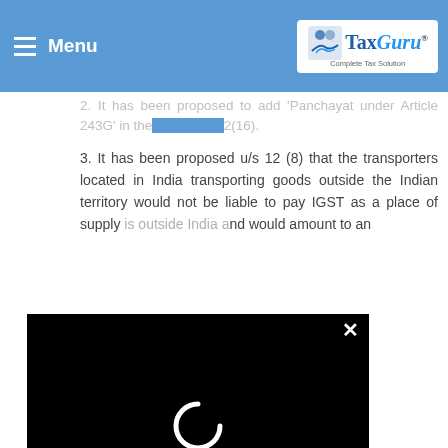Menu | TaxGuru® - Complete Tax Solution
2. It has been proposed to add 'Panchayat under Article 243G' in the... 2(16).
3. It has been proposed u/s 12 (8) that the transporters located in India transporting goods outside the Indian territory would not be liable to pay IGST as a place of supply is outside India and would amount to an...
...under Proviso to Section ... tax liability shall be ...ob work that is done on ...d and then reexported.
B. Proposed changes in the GST (Compensation to States) Act, 2017
[Figure (screenshot): BitLife - Life Simulator advertisement banner with close button]
...und ...pay